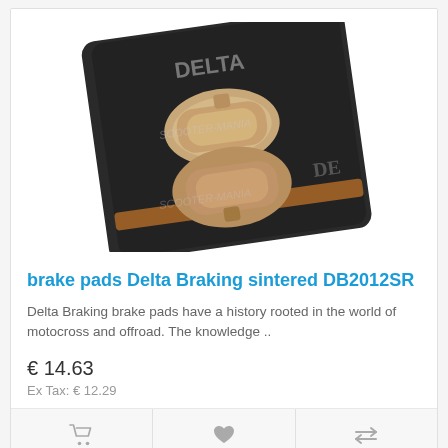[Figure (photo): Product photo of Delta Braking sintered brake pads DB2012SR showing two bronze/copper colored brake pads on dark packaging with SCOOTER-MANIA watermark]
brake pads Delta Braking sintered DB2012SR
Delta Braking brake pads have a history rooted in the world of motocross and offroad. The knowledge ..
€ 14.63
Ex Tax: € 12.29
[Figure (photo): Partially visible second product card at bottom of page showing dark brake pad packaging]